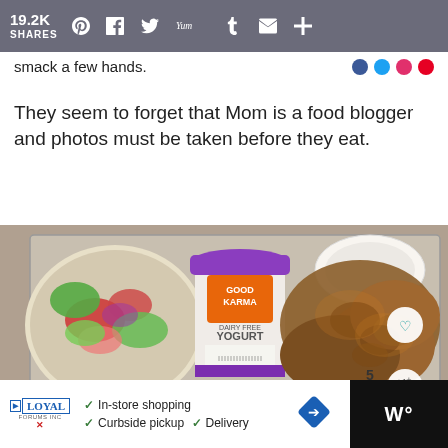19.2K SHARES
smack a few hands.
They seem to forget that Mom is a food blogger and photos must be taken before they eat.
[Figure (photo): Food photo showing a metal tray with spiced chicken pieces, a bowl of Israeli salad with tomatoes cucumber and onion, a container of Good Karma dairy-free yogurt, and wrapped items in foil. A 'What's Next - Copycat PF Chang's...' overlay appears in the bottom right corner.]
In-store shopping  Curbside pickup  Delivery